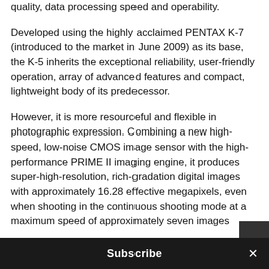quality, data processing speed and operability.
Developed using the highly acclaimed PENTAX K-7 (introduced to the market in June 2009) as its base, the K-5 inherits the exceptional reliability, user-friendly operation, array of advanced features and compact, lightweight body of its predecessor.
However, it is more resourceful and flexible in photographic expression. Combining a new high-speed, low-noise CMOS image sensor with the high-performance PRIME II imaging engine, it produces super-high-resolution, rich-gradation digital images with approximately 16.28 effective megapixels, even when shooting in the continuous shooting mode at a maximum speed of approximately seven images
Subscribe